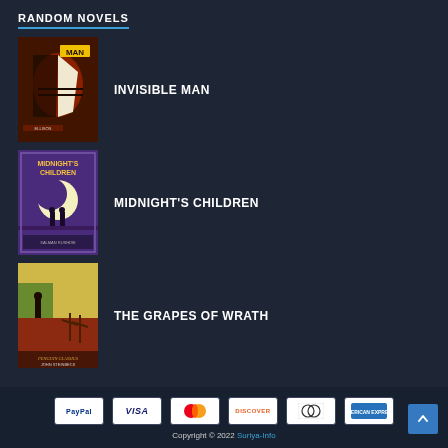RANDOM NOVELS
[Figure (illustration): Book cover of Invisible Man - dark cover with a silhouette face split in half, red and black tones, text MAN visible]
INVISIBLE MAN
[Figure (illustration): Book cover of Midnight's Children - purple cover with moon and two silhouetted figures, text MIDNIGHT'S CHILDREN]
MIDNIGHT'S CHILDREN
[Figure (illustration): Book cover of The Grapes of Wrath - warm tones with a lone figure and barren landscape, Penguin Classics edition]
THE GRAPES OF WRATH
Copyright © 2022 Suriya-Info